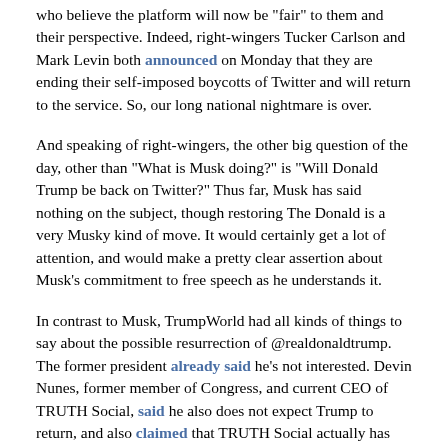who believe the platform will now be "fair" to them and their perspective. Indeed, right-wingers Tucker Carlson and Mark Levin both announced on Monday that they are ending their self-imposed boycotts of Twitter and will return to the service. So, our long national nightmare is over.
And speaking of right-wingers, the other big question of the day, other than "What is Musk doing?" is "Will Donald Trump be back on Twitter?" Thus far, Musk has said nothing on the subject, though restoring The Donald is a very Musky kind of move. It would certainly get a lot of attention, and would make a pretty clear assertion about Musk's commitment to free speech as he understands it.
In contrast to Musk, TrumpWorld had all kinds of things to say about the possible resurrection of @realdonaldtrump. The former president already said he's not interested. Devin Nunes, former member of Congress, and current CEO of TRUTH Social, said he also does not expect Trump to return, and also claimed that TRUTH Social actually has more engagement than Twitter does. Who knew a cow could produce that much bulls**t?